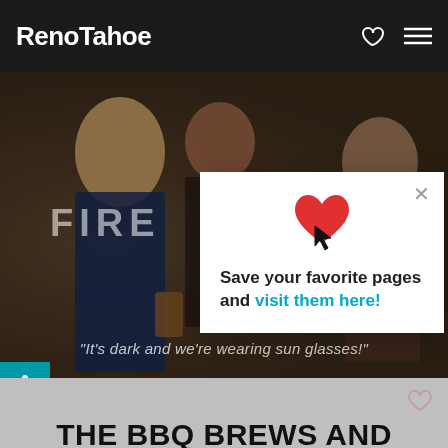RenoTahoe
[Figure (photo): Hero photo of smiling people at an outdoor festival, woman in blue dress holding a drink in foreground]
FIRE
"It's dark and we're wearing sun glasses!"
Save your favorite pages and visit them here!
THE BBQ BREWS AND BLUES FESTIVAL